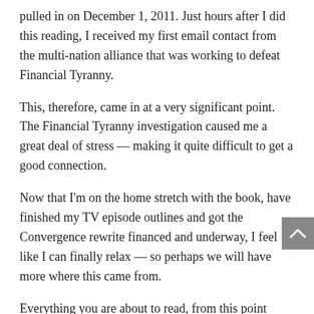pulled in on December 1, 2011. Just hours after I did this reading, I received my first email contact from the multi-nation alliance that was working to defeat Financial Tyranny.
This, therefore, came in at a very significant point. The Financial Tyranny investigation caused me a great deal of stress — making it quite difficult to get a good connection.
Now that I'm on the home stretch with the book, have finished my TV episode outlines and got the Convergence rewrite financed and underway, I feel like I can finally relax — so perhaps we will have more where this came from.
Everything you are about to read, from this point forward, was spoken while I was in a very deep trance, almost completely unaware of any of the words that were being said, in the early morning hours of December 1, 2011.
I followed all the security protocols of making sure that only